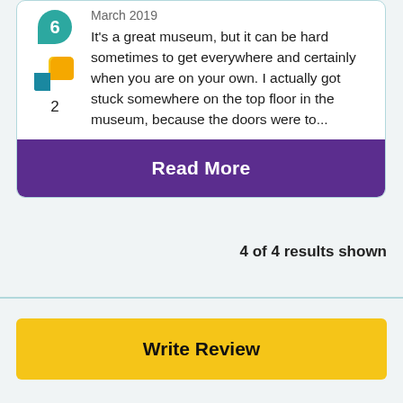March 2019
It's a great museum, but it can be hard sometimes to get everywhere and certainly when you are on your own. I actually got stuck somewhere on the top floor in the museum, because the doors were to...
2
Read More
4 of 4 results shown
Write Review